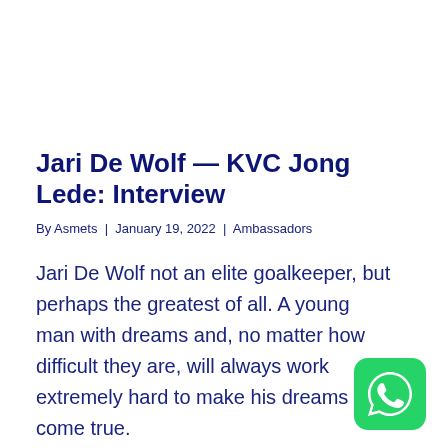Jari De Wolf — KVC Jong Lede: Interview
By Asmets | January 19, 2022 | Ambassadors
Jari De Wolf not an elite goalkeeper, but perhaps the greatest of all. A young man with dreams and, no matter how difficult they are, will always work extremely hard to make his dreams come true.
[Figure (logo): WhatsApp green rounded square icon with white phone/chat logo]